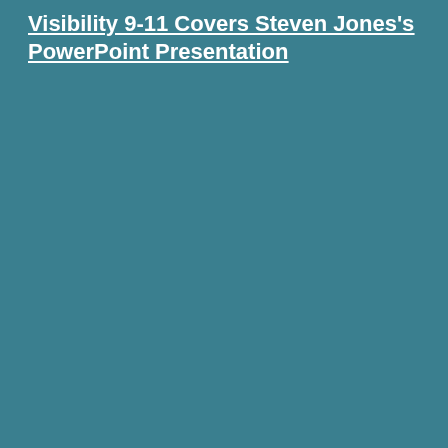Visibility 9-11 Covers Steven Jones's PowerPoint Presentation